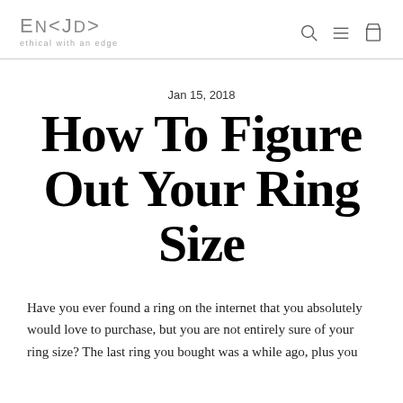ENCJD — ethical with an edge
Jan 15, 2018
How To Figure Out Your Ring Size
Have you ever found a ring on the internet that you absolutely would love to purchase, but you are not entirely sure of your ring size? The last ring you bought was a while ago, plus you